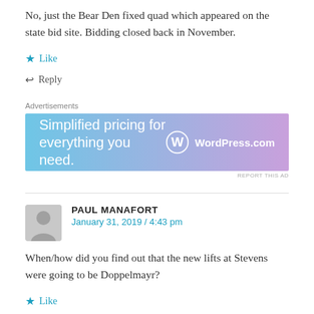No, just the Bear Den fixed quad which appeared on the state bid site. Bidding closed back in November.
Like
Reply
Advertisements
[Figure (other): WordPress.com advertisement banner with text 'Simplified pricing for everything you need.' and WordPress.com logo on a blue-to-purple gradient background.]
REPORT THIS AD
PAUL MANAFORT
January 31, 2019 / 4:43 pm
When/how did you find out that the new lifts at Stevens were going to be Doppelmayr?
Like